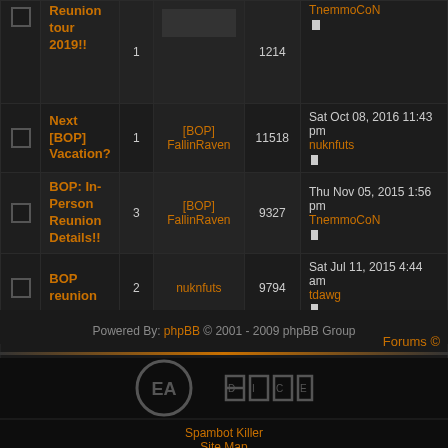|  | Topic | Replies | Author | Views | Last Post |
| --- | --- | --- | --- | --- | --- |
| ☐ | Reunion tour 2019!! | 1 | nuknfuts | 1214 | TnemmoCoN |
| ☐ | Next [BOP] Vacation? | 1 | [BOP] FallinRaven | 11518 | Sat Oct 08, 2016 11:43 pm
nuknfuts |
| ☐ | BOP: In-Person Reunion Details!! | 3 | [BOP] FallinRaven | 9327 | Thu Nov 05, 2015 1:56 pm
TnemmoCoN |
| ☐ | BOP reunion | 2 | nuknfuts | 9794 | Sat Jul 11, 2015 4:44 am
tdawg |
Powered By: phpBB © 2001 - 2009 phpBB Group
Forums ©
[Figure (logo): EA logo circle and DICE logo in grey on dark background]
Spambot Killer
Site Map